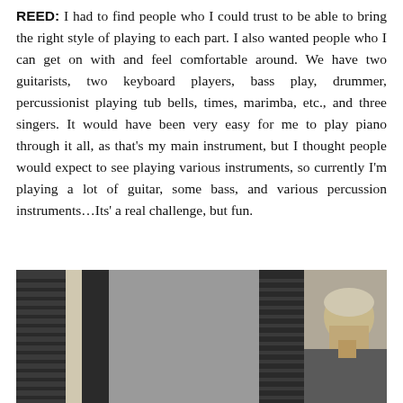REED: I had to find people who I could trust to be able to bring the right style of playing to each part. I also wanted people who I can get on with and feel comfortable around. We have two guitarists, two keyboard players, bass play, drummer, percussionist playing tub bells, times, marimba, etc., and three singers. It would have been very easy for me to play piano through it all, as that's my main instrument, but I thought people would expect to see playing various instruments, so currently I'm playing a lot of guitar, some bass, and various percussion instruments…Its' a real challenge, but fun.
[Figure (photo): Black and white photograph of a man seen from the side/behind, seated, in what appears to be a room with windows and shutters on the left and the man's profile visible on the right.]